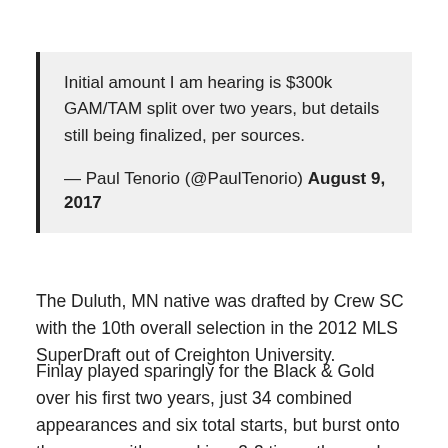Initial amount I am hearing is $300k GAM/TAM split over two years, but details still being finalized, per sources.

— Paul Tenorio (@PaulTenorio) August 9, 2017
The Duluth, MN native was drafted by Crew SC with the 10th overall selection in the 2012 MLS SuperDraft out of Creighton University.
Finlay played sparingly for the Black & Gold over his first two years, just 34 combined appearances and six total starts, but burst onto the scene with a goal in a 3-3 tie on the road against the Portland Timbers in May of 2014.